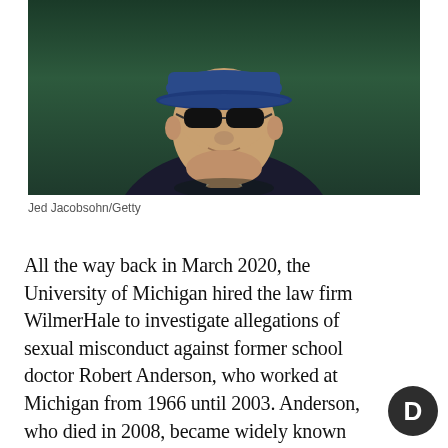[Figure (photo): An elderly man wearing dark sunglasses and a blue baseball cap, photographed against a dark green background. He is wearing a dark suit jacket over a light-colored shirt.]
Jed Jacobsohn/Getty
All the way back in March 2020, the University of Michigan hired the law firm WilmerHale to investigate allegations of sexual misconduct against former school doctor Robert Anderson, who worked at Michigan from 1966 until 2003. Anderson, who died in 2008, became widely known after a former wrestler named Tad Deluca wrote a letter in 2018 to current Michigan athletic director Warde